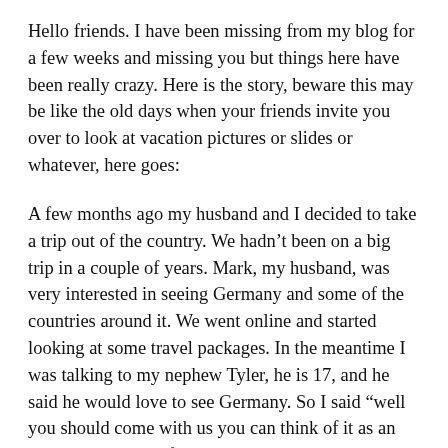Hello friends. I have been missing from my blog for a few weeks and missing you but things here have been really crazy. Here is the story, beware this may be like the old days when your friends invite you over to look at vacation pictures or slides or whatever, here goes:
A few months ago my husband and I decided to take a trip out of the country. We hadn't been on a big trip in a couple of years. Mark, my husband, was very interested in seeing Germany and some of the countries around it. We went online and started looking at some travel packages. In the meantime I was talking to my nephew Tyler, he is 17, and he said he would love to see Germany. So I said “well you should come with us you can think of it as an early graduation gift”. He actually graduates next year. So the plan started to take shape.